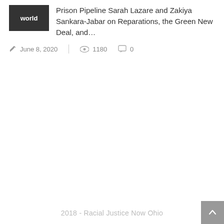Prison Pipeline Sarah Lazare and Zakiya Sankara-Jabar on Reparations, the Green New Deal, and...
June 8, 2020   1180   0
2018 - Racial Justice Now Ohio